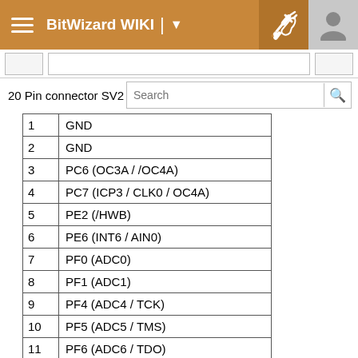BitWizard WIKI
20 Pin connector SV2 is co
| Pin | Signal |
| --- | --- |
| 1 | GND |
| 2 | GND |
| 3 | PC6 (OC3A / /OC4A) |
| 4 | PC7 (ICP3 / CLK0 / OC4A) |
| 5 | PE2 (/HWB) |
| 6 | PE6 (INT6 / AIN0) |
| 7 | PF0 (ADC0) |
| 8 | PF1 (ADC1) |
| 9 | PF4 (ADC4 / TCK) |
| 10 | PF5 (ADC5 / TMS) |
| 11 | PF6 (ADC6 / TDO) |
| 12 | PF7 (ADC7 / TDI) |
| 13 | PF1 (ADC1) |